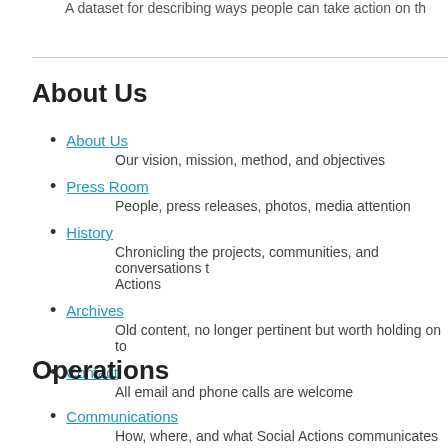A dataset for describing ways people can take action on th
About Us
About Us — Our vision, mission, method, and objectives
Press Room — People, press releases, photos, media attention
History — Chronicling the projects, communities, and conversations t Actions
Archives — Old content, no longer pertinent but worth holding on to
Contact — All email and phone calls are welcome
Operations
Communications — How, where, and what Social Actions communicates